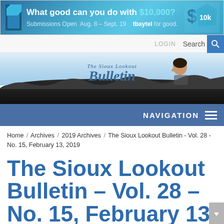[Figure (screenshot): Tbaytel for good advertisement banner. Text reads: 'What good can you do with $10,000? Submissions Open Aug. 8 – Sept. 19  tbaytel for good.']
LOGIN   Search
[Figure (logo): The Sioux Lookout Bulletin newspaper masthead logo with a person looking out from behind rocky terrain against a light blue sky.]
NAVIGATION
Home / Archives / 2019 Archives / The Sioux Lookout Bulletin - Vol. 28 - No. 15, February 13, 2019
The Sioux Lookout Bulletin – Vol. 28 – No. 15, February 13,